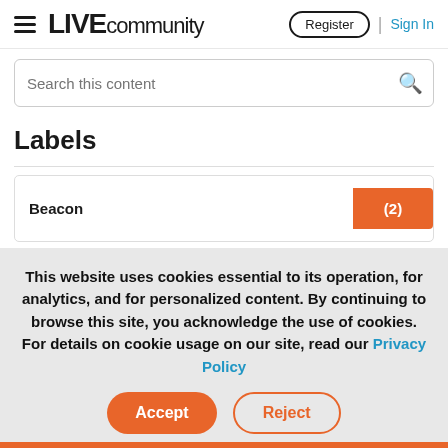LIVE community | Register | Sign In
Search this content
Labels
Beacon (2)
Certifications (1)
This website uses cookies essential to its operation, for analytics, and for personalized content. By continuing to browse this site, you acknowledge the use of cookies. For details on cookie usage on our site, read our Privacy Policy